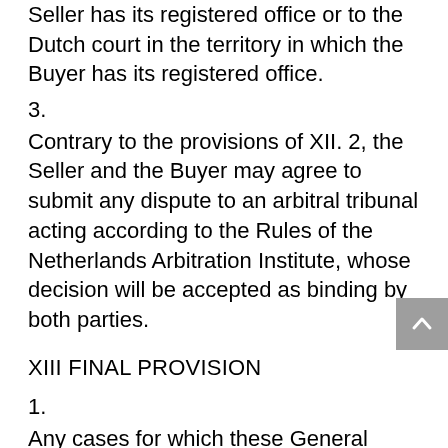Seller has its registered office or to the Dutch court in the territory in which the Buyer has its registered office.
3.
Contrary to the provisions of XII. 2, the Seller and the Buyer may agree to submit any dispute to an arbitral tribunal acting according to the Rules of the Netherlands Arbitration Institute, whose decision will be accepted as binding by both parties.
XIII FINAL PROVISION
1.
Any cases for which these General Terms and Conditions do not provide will also be governed by Dutch law.
2.
If and to the extent that any part or provision